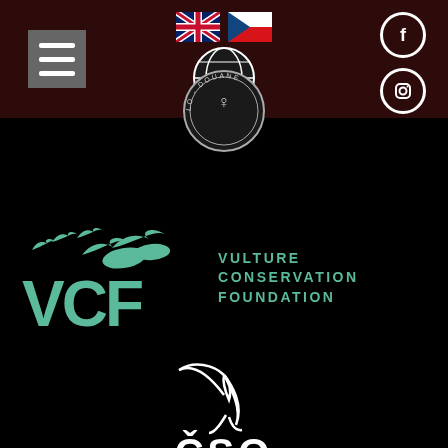[Figure (logo): Website header with dark red/brown background. Contains a hamburger menu icon on the left, a 'Stolen Wildlife' globe logo in the center top, UK and Czech Republic flag icons, a Facebook icon and Instagram icon on the right.]
[Figure (logo): Circular customs seal/stamp partially visible: 'Lo-Douane' text around perimeter, overlapping the boundary between header and black background.]
[Figure (logo): VCF - Vulture Conservation Foundation logo. Teal/mint colored birds (vultures) in flight above large 'VCF' text, with 'VULTURE CONSERVATION FOUNDATION' text to the right, all on black background.]
[Figure (logo): CSO logo partially visible at bottom. White outline illustration of a bird (swallow/swift) in flight, with 'ČSO' text below, on black background.]